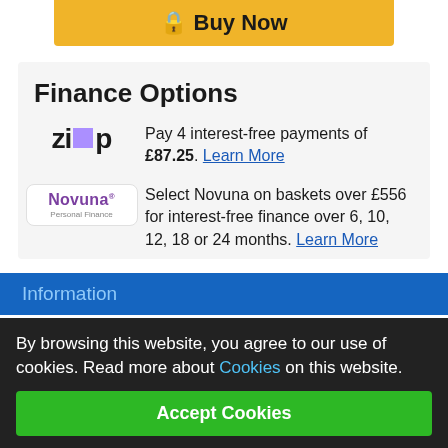[Figure (other): Yellow 'Buy Now' button at top of page]
Finance Options
Pay 4 interest-free payments of £87.25. Learn More
Select Novuna on baskets over £556 for interest-free finance over 6, 10, 12, 18 or 24 months. Learn More
Information
By browsing this website, you agree to our use of cookies. Read more about Cookies on this website.
Accept Cookies